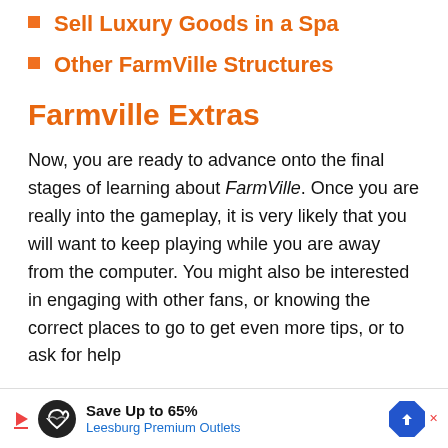Sell Luxury Goods in a Spa
Other FarmVille Structures
Farmville Extras
Now, you are ready to advance onto the final stages of learning about FarmVille. Once you are really into the gameplay, it is very likely that you will want to keep playing while you are away from the computer. You might also be interested in engaging with other fans, or knowing the correct places to go to get even more tips, or to ask for help
[Figure (other): Advertisement banner: Save Up to 65% - Leesburg Premium Outlets with play button, infinity logo circle, and blue diamond navigation arrow]